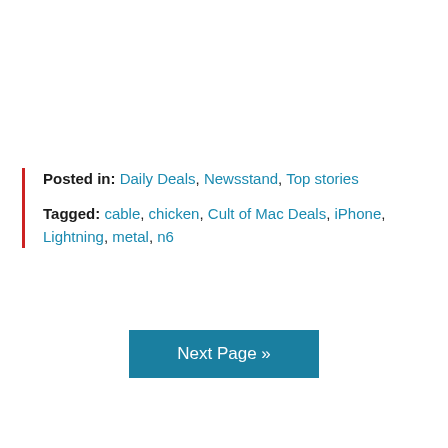Posted in: Daily Deals, Newsstand, Top stories
Tagged: cable, chicken, Cult of Mac Deals, iPhone, Lightning, metal, n6
Next Page »